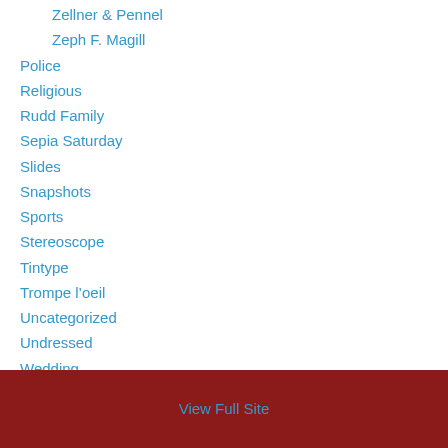Zellner & Pennel
Zeph F. Magill
Police
Religious
Rudd Family
Sepia Saturday
Slides
Snapshots
Sports
Stereoscope
Tintype
Trompe l’oeil
Uncategorized
Undressed
Wedding
Women
View Full Site